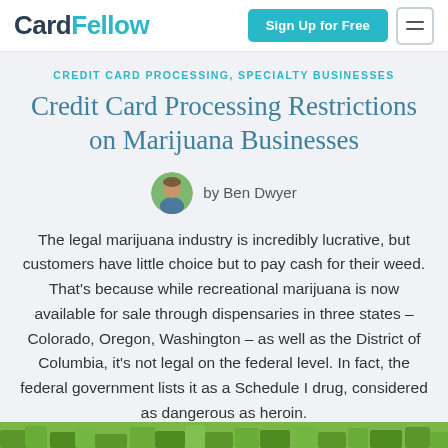CardFellow | Sign Up for Free
CREDIT CARD PROCESSING, SPECIALTY BUSINESSES
Credit Card Processing Restrictions on Marijuana Businesses
by Ben Dwyer
The legal marijuana industry is incredibly lucrative, but customers have little choice but to pay cash for their weed. That’s because while recreational marijuana is now available for sale through dispensaries in three states – Colorado, Oregon, Washington – as well as the District of Columbia, it’s not legal on the federal level. In fact, the federal government lists it as a Schedule I drug, considered as dangerous as heroin.
[Figure (photo): Bottom strip showing marijuana plant foliage]